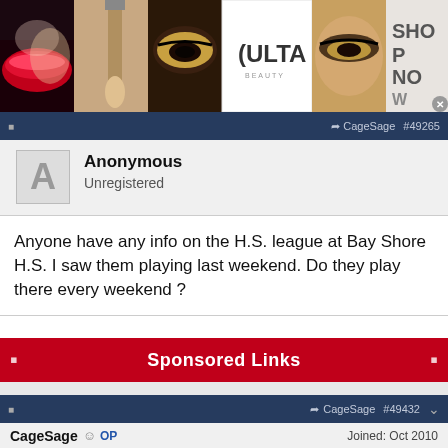[Figure (photo): Top banner advertisement for Ulta Beauty showing makeup photos (red lips, makeup brush, eye makeup, Ulta logo, smoky eyes) with 'SHOP NOW' button]
CageSage  #49265
Anonymous
Unregistered
Anyone have any info on the H.S. league at Bay Shore H.S. I saw them playing last weekend. Do they play there every weekend ?
Sponsored Links
CageSage  #49432
CageSage  OP
Back of THE CAGE
Joined: Oct 2010
Likes: 1
[Figure (photo): Bottom banner advertisement for Macy's with text 'KISS BORING LIPS GOODBYE' and 'SHOP NOW' button, showing woman with red lips]